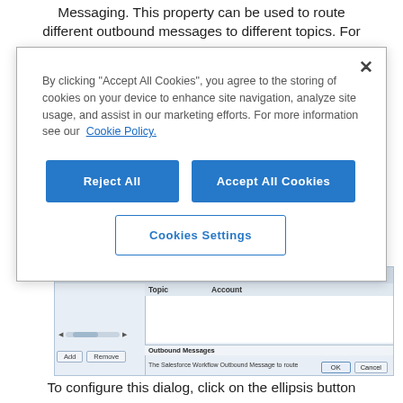Messaging. This property can be used to route different outbound messages to different topics. For
[Figure (screenshot): Cookie consent modal dialog with 'Reject All', 'Accept All Cookies' buttons and 'Cookies Settings' link. Text: 'By clicking "Accept All Cookies", you agree to the storing of cookies on your device to enhance site navigation, analyze site usage, and assist in our marketing efforts. For more information see our Cookie Policy.']
[Figure (screenshot): Software dialog screenshot showing a table with 'Topic' and 'Account' columns, 'Outbound Messages' section at bottom reading 'The Salesforce Workflow Outbound Message to route', with Add, Remove, OK, Cancel buttons]
To configure this dialog, click on the ellipsis button